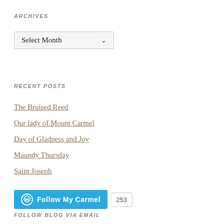ARCHIVES
[Figure (other): A dropdown selector labeled 'Select Month' with a down arrow chevron, styled as a form element with gray border.]
RECENT POSTS
The Bruised Reed
Our lady of Mount Carmel
Day of Gladness and Joy
Maundy Thursday
Saint Joseph
[Figure (other): WordPress Follow button in blue reading 'Follow My Carmel' with a WordPress logo icon, followed by a count badge showing '253'.]
FOLLOW BLOG VIA EMAIL